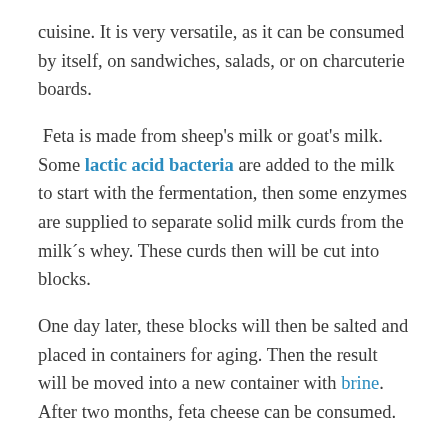cuisine. It is very versatile, as it can be consumed by itself, on sandwiches, salads, or on charcuterie boards.
Feta is made from sheep's milk or goat's milk. Some lactic acid bacteria are added to the milk to start with the fermentation, then some enzymes are supplied to separate solid milk curds from the milk´s whey. These curds then will be cut into blocks.
One day later, these blocks will then be salted and placed in containers for aging. Then the result will be moved into a new container with brine. After two months, feta cheese can be consumed.
What are the nutritional facts of feta